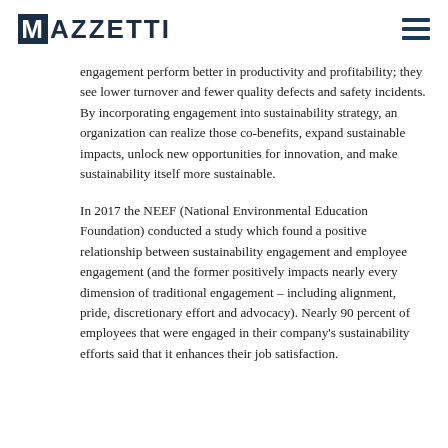MAZZETTI
engagement perform better in productivity and profitability; they see lower turnover and fewer quality defects and safety incidents. By incorporating engagement into sustainability strategy, an organization can realize those co-benefits, expand sustainable impacts, unlock new opportunities for innovation, and make sustainability itself more sustainable.
In 2017 the NEEF (National Environmental Education Foundation) conducted a study which found a positive relationship between sustainability engagement and employee engagement (and the former positively impacts nearly every dimension of traditional engagement – including alignment, pride, discretionary effort and advocacy). Nearly 90 percent of employees that were engaged in their company's sustainability efforts said that it enhances their job satisfaction.